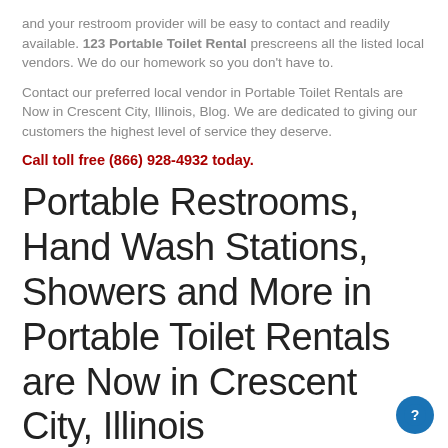and your restroom provider will be easy to contact and readily available. 123 Portable Toilet Rental prescreens all the listed local vendors. We do our homework so you don't have to.
Contact our preferred local vendor in Portable Toilet Rentals are Now in Crescent City, Illinois, Blog. We are dedicated to giving our customers the highest level of service they deserve.
Call toll free (866) 928-4932 today.
Portable Restrooms, Hand Wash Stations, Showers and More in Portable Toilet Rentals are Now in Crescent City, Illinois